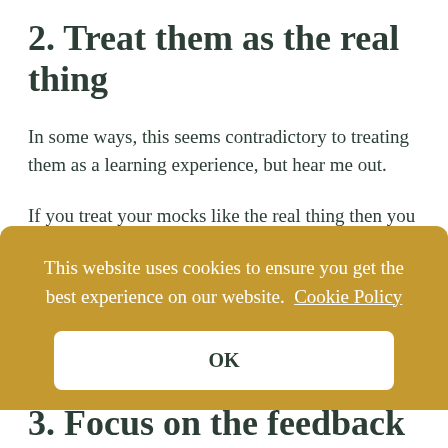2. Treat them as the real thing
In some ways, this seems contradictory to treating them as a learning experience, but hear me out.
If you treat your mocks like the real thing then you get a much clearer understanding of how much you can get out of yourself when you really put your mind to it, as well as the kinds a
This website uses cookies to ensure you get the best experience on our website. Cookie Policy
OK
3. Focus on the feedback